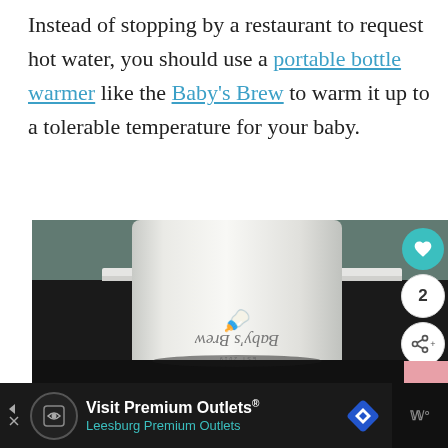Instead of stopping by a restaurant to request hot water, you should use a portable bottle warmer like the Baby's Brew to warm it up to a tolerable temperature for your baby.
[Figure (photo): Photo of a Baby's Brew portable bottle warmer — a white cylindrical device with the 'Baby's Brew' logo printed on it, photographed against a dark background with teal/grey wall visible.]
Visit Premium Outlets® Leesburg Premium Outlets